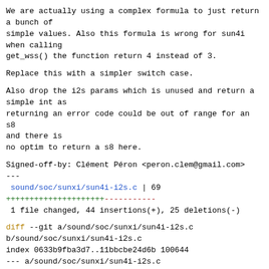We are actually using a complex formula to just return
a bunch of
simple values. Also this formula is wrong for sun4i
when calling
get_wss() the function return 4 instead of 3.
Replace this with a simpler switch case.
Also drop the i2s params which is unused and return a
simple int as
returning an error code could be out of range for an s8
and there is
no optim to return a s8 here.
Signed-off-by: Clément Péron <peron.clem@gmail.com>
---
 sound/soc/sunxi/sun4i-i2s.c | 69
++++++++++++++++++++++-----------
 1 file changed, 44 insertions(+), 25 deletions(-)
diff --git a/sound/soc/sunxi/sun4i-i2s.c b/sound/soc/sunxi/sun4i-i2s.c
index 0633b9fba3d7..11bbcbe24d6b 100644
--- a/sound/soc/sunxi/sun4i-i2s.c
+++ b/sound/soc/sunxi/sun4i-i2s.c
@@ -175,8 +175,8 @@ struct sun4i_i2s_quirks {
        unsigned int
num_mclk_dividers;